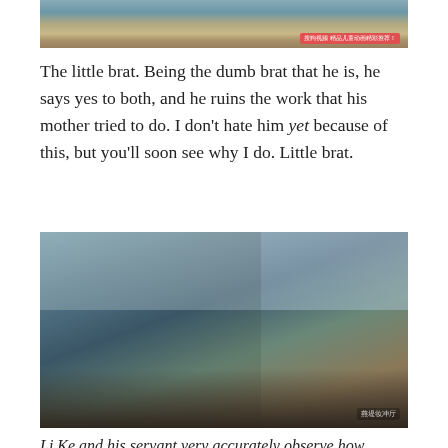[Figure (screenshot): Top cropped screenshot of a Chinese historical drama showing a person in traditional costume with a red subtitle bar overlay at the bottom]
The little brat. Being the dumb brat that he is, he says yes to both, and he ruins the work that his mother tried to do. I don't hate him yet because of this, but you'll soon see why I do. Little brat.
[Figure (screenshot): Screenshot from a Chinese historical drama showing an interior palace room scene with blue curtains, traditional furniture, and two figures in period costumes]
Li Ke and his servant very accurately observe how incompetent the current Emperor is, because his actions all driven to love a woman – I agree, it's